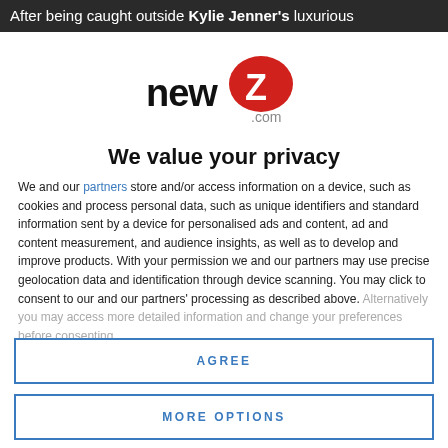After being caught outside Kylie Jenner's luxurious
[Figure (logo): newZ.com logo — red speech bubble with white Z, black 'new' text, '.com' in grey]
We value your privacy
We and our partners store and/or access information on a device, such as cookies and process personal data, such as unique identifiers and standard information sent by a device for personalised ads and content, ad and content measurement, and audience insights, as well as to develop and improve products. With your permission we and our partners may use precise geolocation data and identification through device scanning. You may click to consent to our and our partners' processing as described above. Alternatively you may access more detailed information and change your preferences before consenting
AGREE
MORE OPTIONS